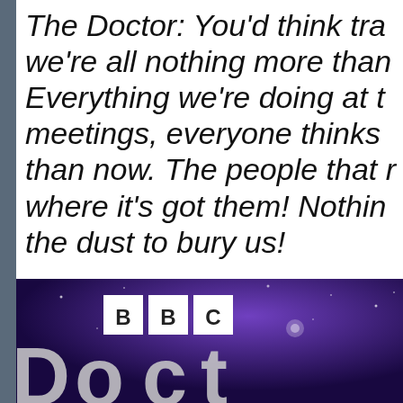The Doctor: You'd think tra we're all nothing more than Everything we're doing at t meetings, everyone thinks than now. The people that r where it's got them! Nothin the dust to bury us!

Benny: Well, I'm so glad yo
[Figure (screenshot): BBC logo with purple/dark background and large stylized white letters below]